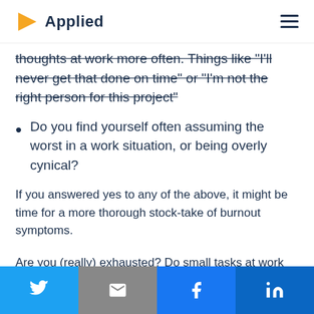Applied
thoughts at work more often. Things like "I'll never get that done on time" or "I'm not the right person for this project"
Do you find yourself often assuming the worst in a work situation, or being overly cynical?
If you answered yes to any of the above, it might be time for a more thorough stock-take of burnout symptoms.
Are you (really) exhausted? Do small tasks at work
Twitter | Email | Facebook | LinkedIn